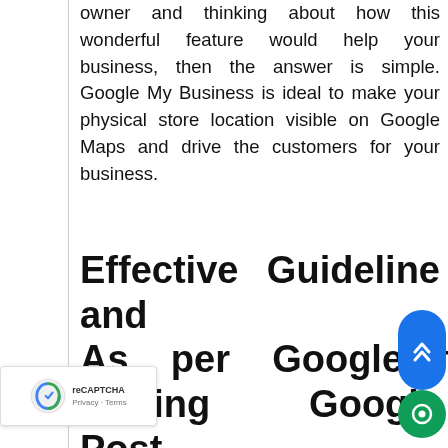owner and thinking about how this wonderful feature would help your business, then the answer is simple. Google My Business is ideal to make your physical store location visible on Google Maps and drive the customers for your business.
Effective Guideline and As per Google for Writing Google Post